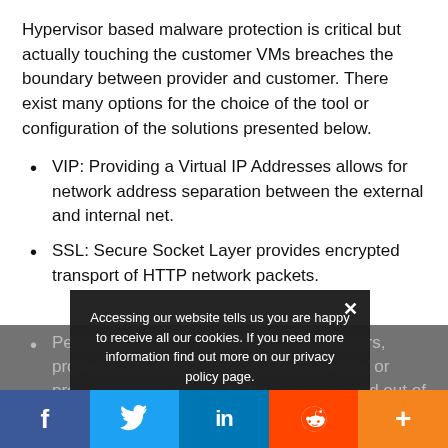Hypervisor based malware protection is critical but actually touching the customer VMs breaches the boundary between provider and customer. There exist many options for the choice of the tool or configuration of the solutions presented below.
VIP: Providing a Virtual IP Addresses allows for network address separation between the external and internal net.
SSL: Secure Socket Layer provides encrypted transport of HTTP network packets.
Perimeter security (firewalls, load balancers, proxies): Creating a firewall, load balancer or proxy to take control of traffic flowing in and out of cloud networks. Firewalls, load balancers and proxy servers can be physical devices, physical appliances or virtual devices.
Virtual services: This secure appliance or virtual ma...
Accessing our website tells us you are happy to receive all our cookies. If you need more information find out more on our privacy policy page.
Privacy Preferences